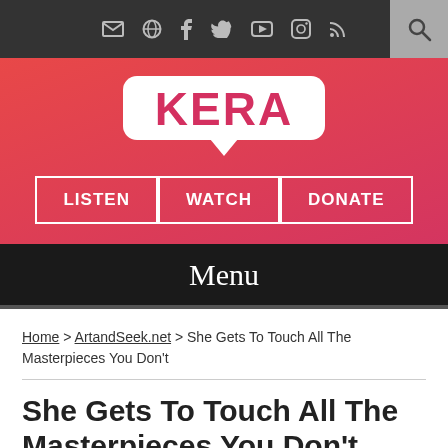[Figure (screenshot): KERA website header with dark top navigation bar containing social media icons (email, GitHub, Facebook, Twitter, YouTube, Instagram, RSS) and a search button. Below is a red/pink gradient banner with the KERA logo in a white speech bubble shape, and three bordered buttons: LISTEN, WATCH, DONATE. Below that is a black Menu bar.]
Home > ArtandSeek.net > She Gets To Touch All The Masterpieces You Don't
She Gets To Touch All The Masterpieces You Don't
ARTANDSEEK.NET August 31, 2017